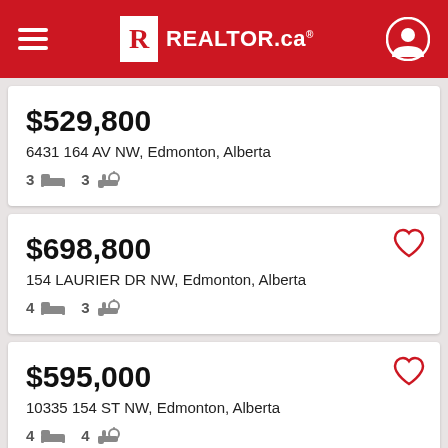REALTOR.ca
$529,800 — 6431 164 AV NW, Edmonton, Alberta — 3 bed 3 bath
$698,800 — 154 LAURIER DR NW, Edmonton, Alberta — 4 bed 3 bath
$595,000 — 10335 154 ST NW, Edmonton, Alberta — 4 bed 4 bath